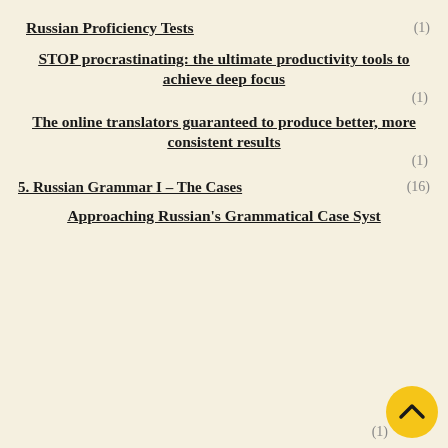Russian Proficiency Tests (1)
STOP procrastinating: the ultimate productivity tools to achieve deep focus (1)
The online translators guaranteed to produce better, more consistent results (1)
5. Russian Grammar I – The Cases (16)
Approaching Russian's Grammatical Case Syst… (1)